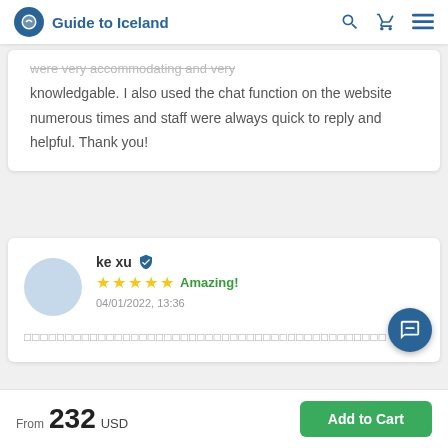Guide to Iceland
were very accommodating and very knowledgable. I also used the chat function on the website numerous times and staff were always quick to reply and helpful. Thank you!
ke xu — Amazing! — 04/01/2022, 13:36
□□□□□□□□□□□□□□□□□□□□□□□□□□□□□□□□□□□□□□□□□□□□
From 232 USD — Add to Cart